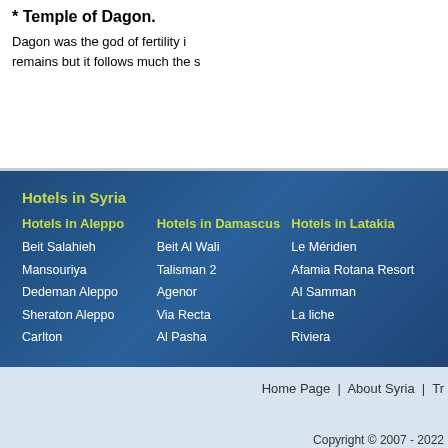* Temple of Dagon.
Dagon was the god of fertility i... remains but it follows much the s...
Hotels in Syria
Hotels in Aleppo
Beit Salahieh
Mansouriya
Dedeman Aleppo
Sheraton Aleppo
Carlton
Hotels in Damascus
Beit Al Wali
Talisman 2
Agenor
Via Recta
Al Pasha
Hotels in Latakia
Le Méridien
Afamia Rotana Resort
Al Samman
La liche
Riviera
Home Page  |  About Syria  |  Tr...
Copyright © 2007 - 2022
Web Design & Develo...